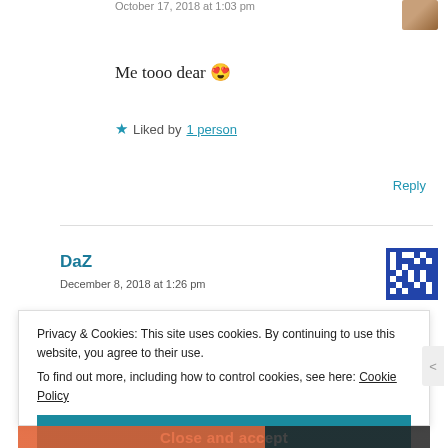October 17, 2018 at 1:03 pm
Me tooo dear 😍
★ Liked by 1 person
Reply
DaZ
December 8, 2018 at 1:26 pm
Privacy & Cookies: This site uses cookies. By continuing to use this website, you agree to their use.
To find out more, including how to control cookies, see here: Cookie Policy
Close and accept